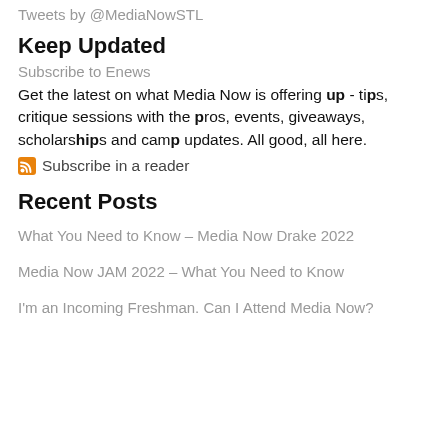Tweets by @MediaNowSTL
Keep Updated
Subscribe to Enews
Get the latest on what Media Now is offering up - tips, critique sessions with the pros, events, giveaways, scholarships and camp updates. All good, all here.
Subscribe in a reader
Recent Posts
What You Need to Know – Media Now Drake 2022
Media Now JAM 2022 – What You Need to Know
I'm an Incoming Freshman. Can I Attend Media Now?